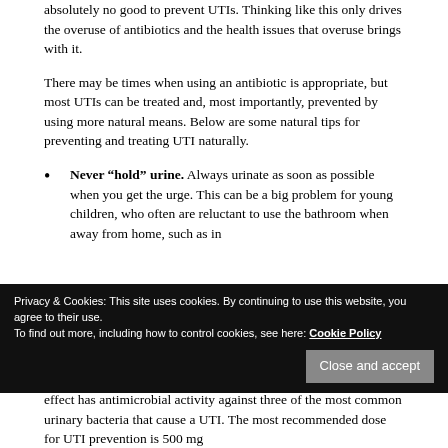absolutely no good to prevent UTIs. Thinking like this only drives the overuse of antibiotics and the health issues that overuse brings with it.
There may be times when using an antibiotic is appropriate, but most UTIs can be treated and, most importantly, prevented by using more natural means. Below are some natural tips for preventing and treating UTI naturally.
Never “hold” urine. Always urinate as soon as possible when you get the urge. This can be a big problem for young children, who often are reluctant to use the bathroom when away from home, such as in
Privacy & Cookies: This site uses cookies. By continuing to use this website, you agree to their use.
To find out more, including how to control cookies, see here: Cookie Policy
effect has antimicrobial activity against three of the most common urinary bacteria that cause a UTI. The most recommended dose for UTI prevention is 500 mg